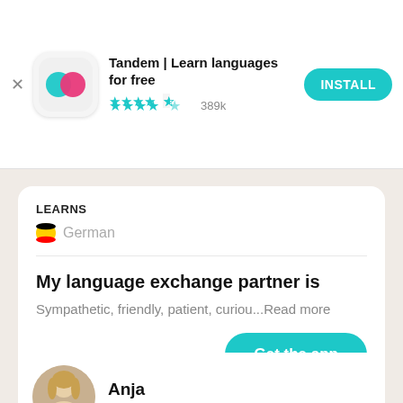[Figure (screenshot): Tandem app install banner with logo, title, star rating (389k reviews), and INSTALL button]
LEARNS
🇩🇪 German
My language exchange partner is
Sympathetic, friendly, patient, curiou...Read more
Get the app
Anja
Villingen-Schwenningen